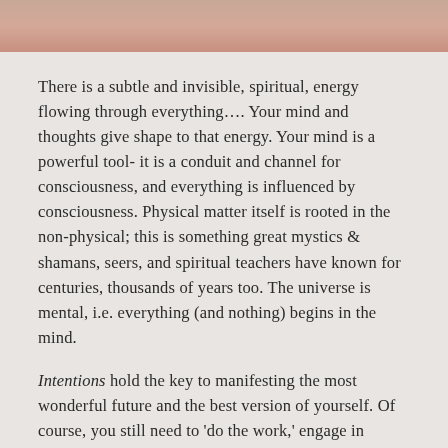[Figure (photo): Cropped photo of a person's face/forehead area, partially visible at the top of the page]
There is a subtle and invisible, spiritual, energy flowing through everything.... Your mind and thoughts give shape to that energy. Your mind is a powerful tool- it is a conduit and channel for consciousness, and everything is influenced by consciousness. Physical matter itself is rooted in the non-physical; this is something great mystics & shamans, seers, and spiritual teachers have known for centuries, thousands of years too. The universe is mental, i.e. everything (and nothing) begins in the mind.
Intentions hold the key to manifesting the most wonderful future and the best version of yourself. Of course, you still need to 'do the work,' engage in healing, self-development, and self-